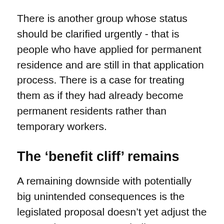There is another group whose status should be clarified urgently - that is people who have applied for permanent residence and are still in that application process. There is a case for treating them as if they had already become permanent residents rather than temporary workers.
The ‘benefit cliff’ remains
A remaining downside with potentially big unintended consequences is the legislated proposal doesn’t yet adjust the spouse income test, excluding many couples where one earner loses their job and leading to a perverse and so-called ‘benefit cliff’